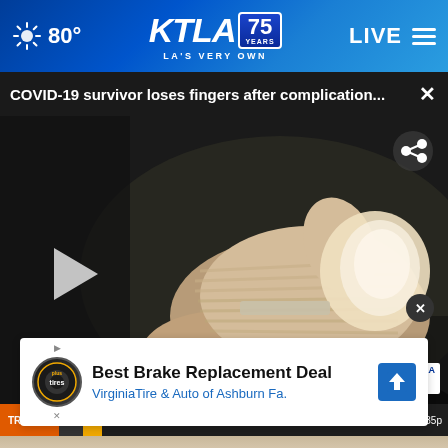80° KTLA 75 YEARS LA'S VERY OWN LIVE
COVID-19 survivor loses fingers after complication...
[Figure (screenshot): KTLA news broadcast screenshot showing a bandaged hand with fingers missing, video player with play button overlay, share button, KTLA 5 watermark, traffic ticker bar reading 'TRAFFIC nce ⚠ Utah Trl both ways Utah Trl: Main roadway closed at Joshua Tree National P 72° 3:35p']
[Figure (screenshot): Advertisement banner for 'Best Brake Replacement Deal - Virginia Tire & Auto of Ashburn Fa.' with Tires Plus logo and blue navigation arrow icon. Close (X) button overlaid on photo background.]